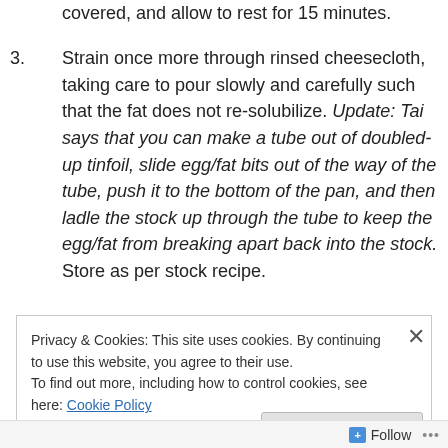Bring to a boil over high heat, then remove from heat, covered, and allow to rest for 15 minutes.
3. Strain once more through rinsed cheesecloth, taking care to pour slowly and carefully such that the fat does not re-solubilize. Update: Tai says that you can make a tube out of doubled-up tinfoil, slide egg/fat bits out of the way of the tube, push it to the bottom of the pan, and then ladle the stock up through the tube to keep the egg/fat from breaking apart back into the stock. Store as per stock recipe.
Privacy & Cookies: This site uses cookies. By continuing to use this website, you agree to their use.
To find out more, including how to control cookies, see here: Cookie Policy
Close and accept
Follow